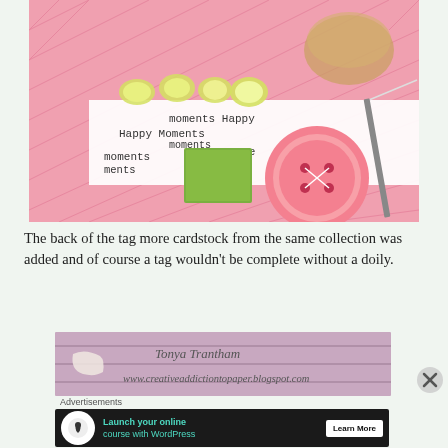[Figure (photo): Close-up photo of a handmade Easter/spring tag with pink patterned cardstock featuring bunnies and chicks in a basket, decorative sequins/pearls, text reading 'Happy Moments' in a typewriter font on a white strip, a green velvet square embellishment, and a large pink button with string.]
The back of the tag more cardstock from the same collection was added and of course a tag wouldn't be complete without a doily.
[Figure (photo): Photo of the back of a pink wooden-background tag with handwritten text 'Tonya Trantham' and 'www.creativeaddictiontopaper.blogspot.com']
Advertisements
[Figure (other): Advertisement banner: dark background with tree/person icon, teal text 'Launch your online course with WordPress', and white 'Learn More' button]